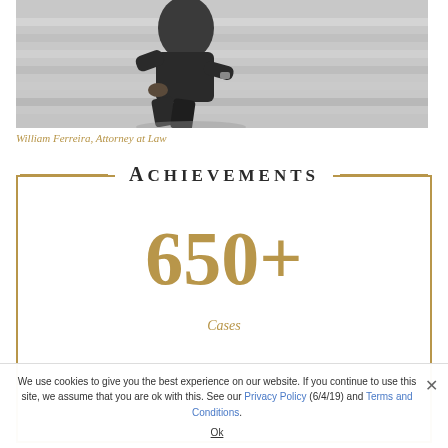[Figure (photo): Black and white photo of a man in dark clothing sitting on marble steps]
William Ferreira, Attorney at Law
Achievements
650+
Cases (partially visible)
We use cookies to give you the best experience on our website. If you continue to use this site, we assume that you are ok with this. See our Privacy Policy (6/4/19) and Terms and Conditions.
Ok